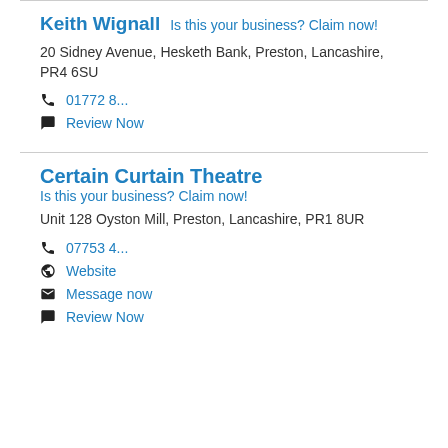Keith Wignall
Is this your business? Claim now!
20 Sidney Avenue, Hesketh Bank, Preston, Lancashire, PR4 6SU
01772 8...
Review Now
Certain Curtain Theatre
Is this your business? Claim now!
Unit 128 Oyston Mill, Preston, Lancashire, PR1 8UR
07753 4...
Website
Message now
Review Now